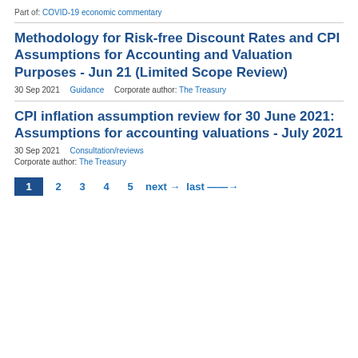Part of: COVID-19 economic commentary
Methodology for Risk-free Discount Rates and CPI Assumptions for Accounting and Valuation Purposes - Jun 21 (Limited Scope Review)
30 Sep 2021    Guidance    Corporate author: The Treasury
CPI inflation assumption review for 30 June 2021: Assumptions for accounting valuations - July 2021
30 Sep 2021    Consultation/reviews
Corporate author: The Treasury